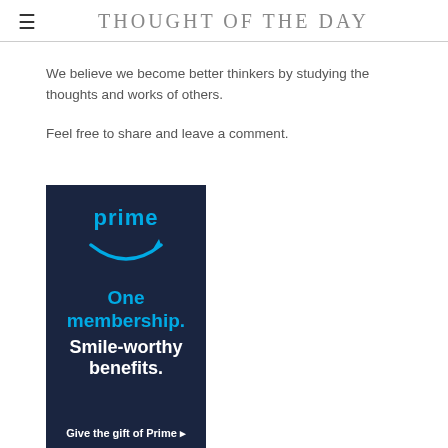THOUGHT OF THE DAY
We believe we become better thinkers by studying the thoughts and works of others.
Feel free to share and leave a comment.
[Figure (advertisement): Amazon Prime advertisement with dark navy background. Shows 'prime' text in blue with Amazon smile arrow logo below it. Text reads 'One membership. Smile-worthy benefits. Give the gift of Prime ▸']